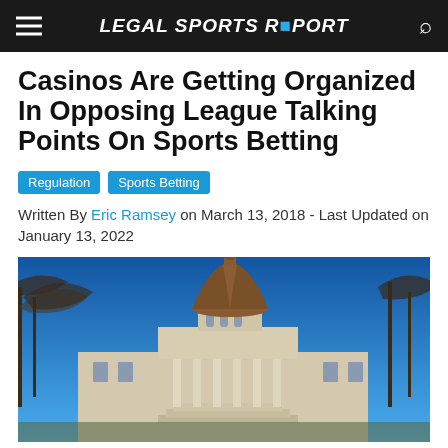LEGAL SPORTS REPORT
Casinos Are Getting Organized In Opposing League Talking Points On Sports Betting
Regulation  Sports Betting
Written By Eric Ramsey on March 13, 2018 - Last Updated on January 13, 2022
[Figure (photo): A state capitol building with a copper dome surrounded by bare winter trees against a bright blue sky]